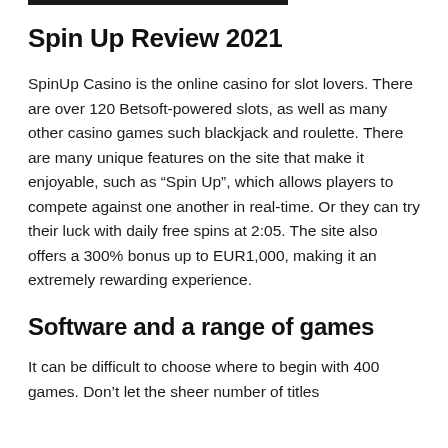Spin Up Review 2021
SpinUp Casino is the online casino for slot lovers. There are over 120 Betsoft-powered slots, as well as many other casino games such blackjack and roulette. There are many unique features on the site that make it enjoyable, such as “Spin Up”, which allows players to compete against one another in real-time. Or they can try their luck with daily free spins at 2:05. The site also offers a 300% bonus up to EUR1,000, making it an extremely rewarding experience.
Software and a range of games
It can be difficult to choose where to begin with 400 games. Don’t let the sheer number of titles